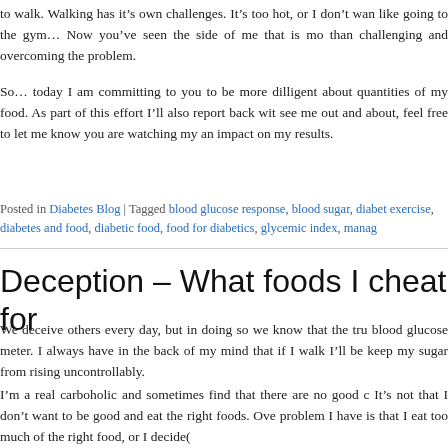to walk. Walking has it's own challenges. It's too hot, or I don't want like going to the gym… Now you've seen the side of me that is more than challenging and overcoming the problem.
So… today I am committing to you to be more dilligent about quantities of my food. As part of this effort I'll also report back with see me out and about, feel free to let me know you are watching my an impact on my results.
Posted in Diabetes Blog | Tagged blood glucose response, blood sugar, diabet exercise, diabetes and food, diabetic food, food for diabetics, glycemic index, manag
Deception – What foods I cheat for
We deceive others every day, but in doing so we know that the tru blood glucose meter. I always have in the back of my mind that if walk I'll be keep my sugar from rising uncontrollably.
I'm a real carboholic and sometimes find that there are no good c It's not that I don't want to be good and eat the right foods. Ove problem I have is that I eat too much of the right food, or I decide(